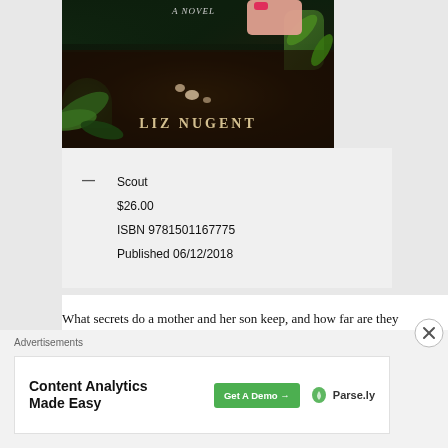[Figure (photo): Book cover for a novel by Liz Nugent showing soil, plants, a hand with pink-painted fingernails, and the author's name in serif text at the bottom. The top reads 'A NOVEL'.]
Scout
$26.00
ISBN 9781501167775
Published 06/12/2018
What secrets do a mother and her son keep, and how far are they willing to go to protect those secrets? These are just two of the questions facing Lydia
Advertisements
[Figure (screenshot): Advertisement banner: 'Content Analytics Made Easy' with a green 'Get A Demo →' button and the Parse.ly logo.]